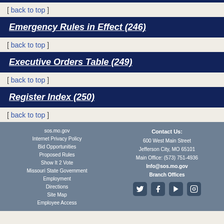[ back to top ]
Emergency Rules in Effect (246)
[ back to top ]
Executive Orders Table (249)
[ back to top ]
Register Index (250)
[ back to top ]
sos.mo.gov | Internet Privacy Policy | Bid Opportunities | Proposed Rules | Show It 2 Vote | Missouri State Government | Employment | Directions | Site Map | Employee Access | Contact Us: 600 West Main Street, Jefferson City, MO 65101, Main Office: (573) 751-4936, Info@sos.mo.gov, Branch Offices